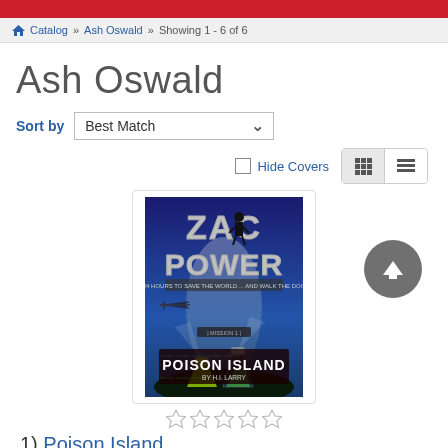Catalog » Ash Oswald » Showing 1 - 6 of 6
Ash Oswald
Sort by  Best Match
☐ Hide Covers
[Figure (illustration): Book cover for Zac Power: Poison Island showing a spy figure, the title text 'ZAC POWER' and 'POISON ISLAND', chemical flasks with green liquid, an island background, and an airplane silhouette. By H.I. Larry.]
★★★★★ (empty stars rating)
1) Poison Island